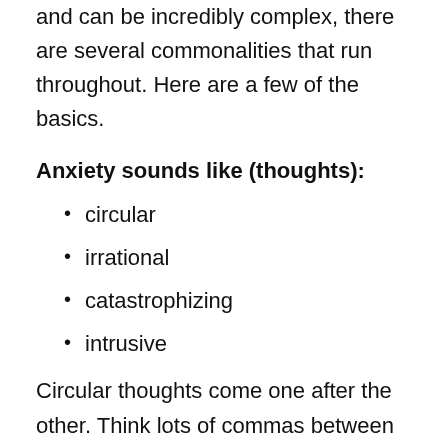and can be incredibly complex, there are several commonalities that run throughout. Here are a few of the basics.
Anxiety sounds like (thoughts):
circular
irrational
catastrophizing
intrusive
Circular thoughts come one after the other. Think lots of commas between thoughts. They never end, like a merry-go-round or a hamster wheel that we can't get off. Irrational thoughts can be tricky; even though we know they are irrational, they feel very